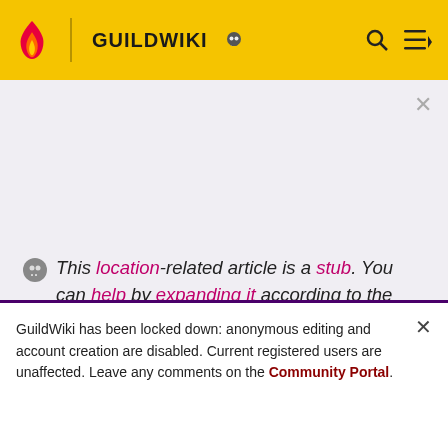GUILDWIKI
This location-related article is a stub. You can help by expanding it according to the style guide.
Monastery Overlook
GuildWiki has been locked down: anonymous editing and account creation are disabled. Current registered users are unaffected. Leave any comments on the Community Portal.